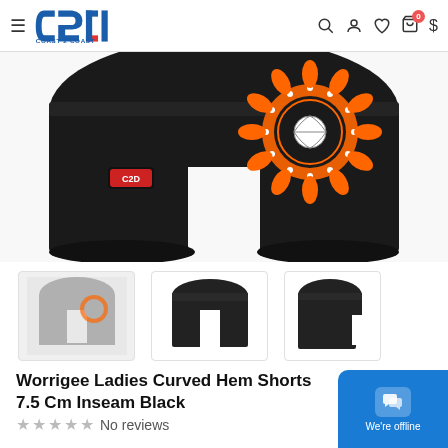Coast 2 Coast navigation bar with logo, search, user, wishlist, cart (0), and $ icons
[Figure (photo): Large product photo of black Worrigee Ladies Curved Hem Shorts with orange and white sun/volleyball club logo design on a black background]
[Figure (photo): Thumbnail 1: grey/light version of the shorts showing the Worrigee Tigers club design]
[Figure (photo): Thumbnail 2: plain black shorts front view]
[Figure (photo): Thumbnail 3: plain black shorts side view]
Worrigee Ladies Curved Hem Shorts 7.5 Cm Inseam Black
No reviews